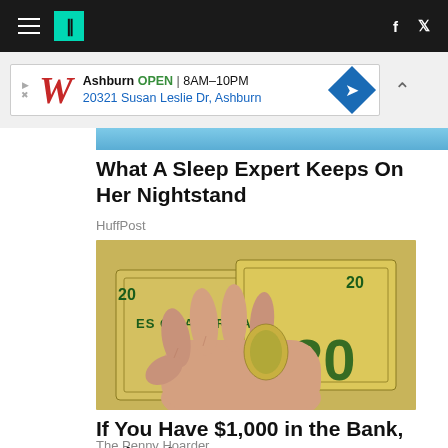HuffPost navigation bar with logo and social icons
[Figure (screenshot): Advertisement banner for Walgreens – Ashburn OPEN 8AM-10PM, 20321 Susan Leslie Dr, Ashburn]
[Figure (photo): Partial article preview image – blue background strip]
What A Sleep Expert Keeps On Her Nightstand
HuffPost
[Figure (photo): A hand holding two US $20 dollar bills showing 'STATES OF AMERICA' text and the number 20]
If You Have $1,000 in the Bank, Make These 6 Moves
The Penny Hoarder